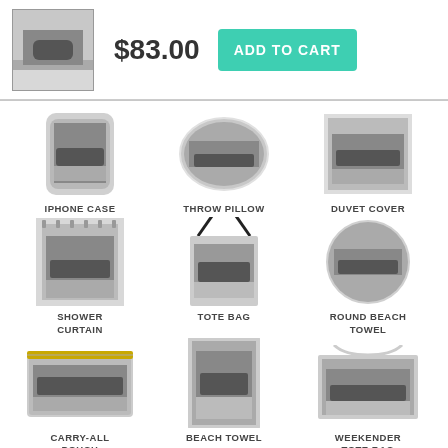[Figure (screenshot): Product thumbnail image of winter Central Park scene on canvas]
$83.00
ADD TO CART
[Figure (photo): iPhone case with winter Central Park photo]
IPHONE CASE
[Figure (photo): Throw pillow with winter Central Park photo]
THROW PILLOW
[Figure (photo): Duvet cover with winter Central Park photo]
DUVET COVER
[Figure (photo): Shower curtain with winter Central Park photo]
SHOWER CURTAIN
[Figure (photo): Tote bag with winter Central Park photo]
TOTE BAG
[Figure (photo): Round beach towel with winter Central Park photo]
ROUND BEACH TOWEL
[Figure (photo): Carry-all pouch with winter Central Park photo]
CARRY-ALL POUCH
[Figure (photo): Beach towel with winter Central Park photo]
BEACH TOWEL
[Figure (photo): Weekender tote bag with winter Central Park photo]
WEEKENDER TOTE BAG